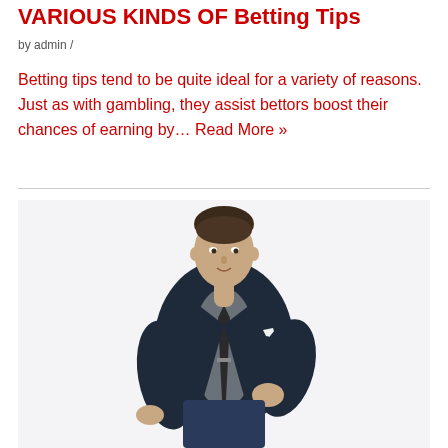VARIOUS KINDS OF Betting Tips
by admin /
Betting tips tend to be quite ideal for a variety of reasons. Just as with gambling, they assist bettors boost their chances of earning by… Read More »
[Figure (photo): A man in a dark navy suit with a grey checked shirt and dark tie, standing with one hand on his hip, adjusting his jacket, against a white background.]